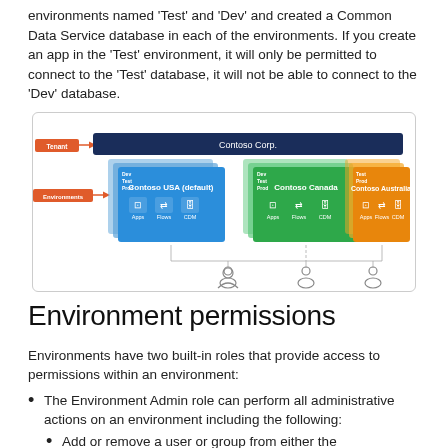environments named 'Test' and 'Dev' and created a Common Data Service database in each of the environments. If you create an app in the 'Test' environment, it will only be permitted to connect to the 'Test' database, it will not be able to connect to the 'Dev' database.
[Figure (infographic): Diagram showing Contoso Corp tenant with three environments: Contoso USA (default) in blue, Contoso Canada in green, and Contoso Australia in orange. Each environment has Apps, Flows, and CDM icons. Lines connect environments downward to three user/admin icons. Red arrow labels show 'Tenant' and 'Environments'.]
Environment permissions
Environments have two built-in roles that provide access to permissions within an environment:
The Environment Admin role can perform all administrative actions on an environment including the following:
Add or remove a user or group from either the